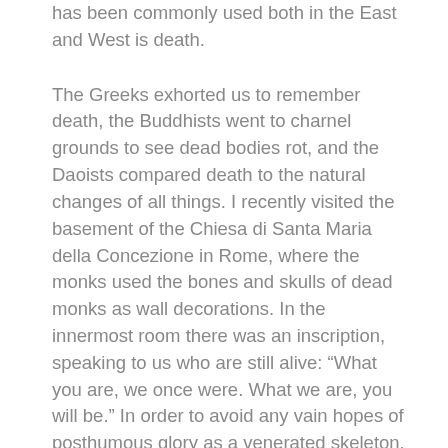has been commonly used both in the East and West is death.
The Greeks exhorted us to remember death, the Buddhists went to charnel grounds to see dead bodies rot, and the Daoists compared death to the natural changes of all things. I recently visited the basement of the Chiesa di Santa Maria della Concezione in Rome, where the monks used the bones and skulls of dead monks as wall decorations. In the innermost room there was an inscription, speaking to us who are still alive: “What you are, we once were. What we are, you will be.” In order to avoid any vain hopes of posthumous glory as a venerated skeleton, the different bones of one and the same person were scattered all over. Over the centuries, four thousand monks ended up in the “gallery”.
Even in forms of meditation that do not focus on death as such, the idea of letting go and of not clinging to